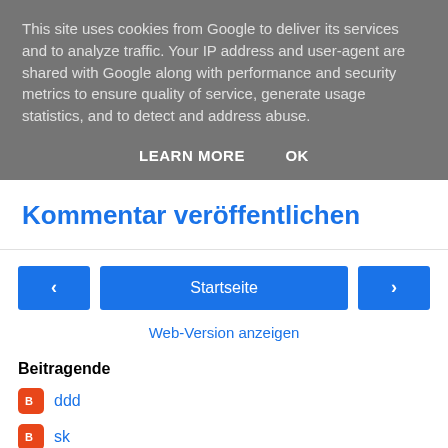This site uses cookies from Google to deliver its services and to analyze traffic. Your IP address and user-agent are shared with Google along with performance and security metrics to ensure quality of service, generate usage statistics, and to detect and address abuse.
LEARN MORE   OK
Kommentar veröffentlichen
[Figure (other): Navigation buttons: left arrow, Startseite (home), right arrow]
Web-Version anzeigen
Beitragende
ddd
sk
Powered by Blogger